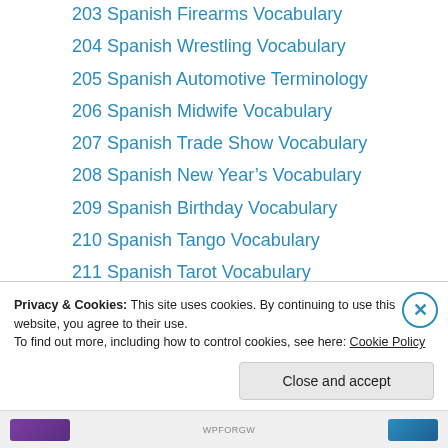203 Spanish Firearms Vocabulary
204 Spanish Wrestling Vocabulary
205 Spanish Automotive Terminology
206 Spanish Midwife Vocabulary
207 Spanish Trade Show Vocabulary
208 Spanish New Year’s Vocabulary
209 Spanish Birthday Vocabulary
210 Spanish Tango Vocabulary
211 Spanish Tarot Vocabulary
212 Spanish Playing Cards Vocabulary
213 Spanish Palmistry Terminology
214 Spanish Royal Terminology
215 Spanish Space Program Vocabulary
216 Spanish Valentine’s Vocabulary
Privacy & Cookies: This site uses cookies. By continuing to use this website, you agree to their use. To find out more, including how to control cookies, see here: Cookie Policy
Close and accept